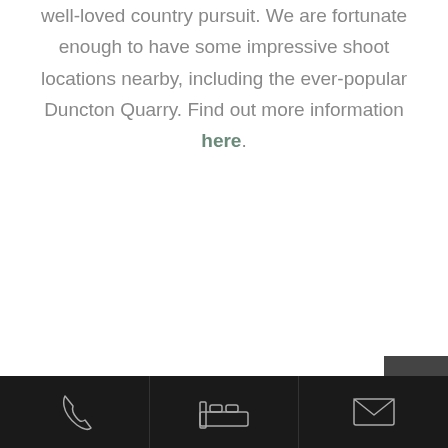well-loved country pursuit. We are fortunate enough to have some impressive shoot locations nearby, including the ever-popular Duncton Quarry. Find out more information here.
[Figure (other): Footer navigation bar with three icon buttons on dark background: phone icon, bed/accommodation icon, and envelope/mail icon. A small dark grey rectangle appears in the top-right corner of the footer area.]